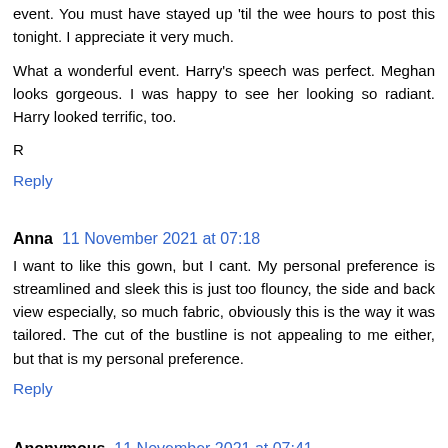event. You must have stayed up 'til the wee hours to post this tonight. I appreciate it very much.
What a wonderful event. Harry's speech was perfect. Meghan looks gorgeous. I was happy to see her looking so radiant. Harry looked terrific, too.
R
Reply
Anna 11 November 2021 at 07:18
I want to like this gown, but I cant. My personal preference is streamlined and sleek this is just too flouncy, the side and back view especially, so much fabric, obviously this is the way it was tailored. The cut of the bustline is not appealing to me either, but that is my personal preference.
Reply
Anonymous 11 November 2021 at 07:41